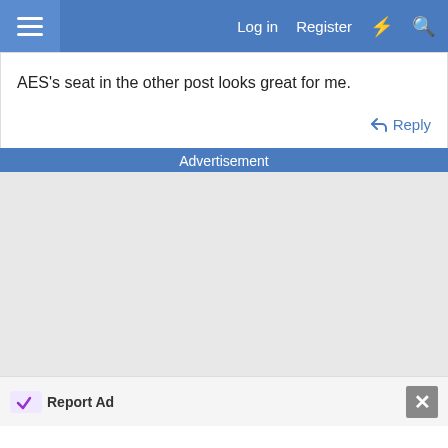Log in  Register
AES's seat in the other post looks great for me.
Reply
Advertisement
[Figure (other): Empty grey advertisement placeholder area]
Report Ad